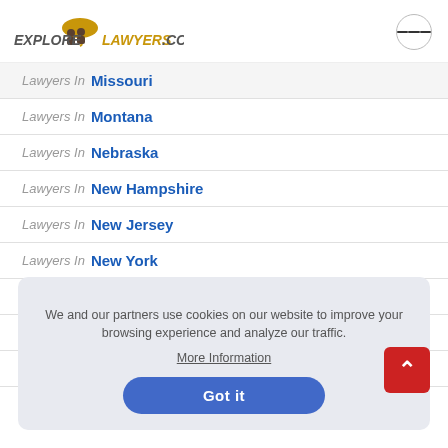EXPLORE LAWYERS.COM
Lawyers In Missouri
Lawyers In Montana
Lawyers In Nebraska
Lawyers In New Hampshire
Lawyers In New Jersey
Lawyers In New York
Lawyers In North Carolina
Lawyers In North Dakota
Lawyers In Ohio
We and our partners use cookies on our website to improve your browsing experience and analyze our traffic. More Information
Got it